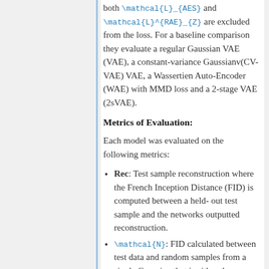both \mathcal{L}_{AES} and \mathcal{L}^{RAE}_{Z} are excluded from the loss. For a baseline comparison they evaluate a regular Gaussian VAE (VAE), a constant-variance Gaussianv(CV-VAE) VAE, a Wassertien Auto-Encoder (WAE) with MMD loss and a 2-stage VAE (2sVAE).
Metrics of Evaluation:
Each model was evaluated on the following metrics:
Rec: Test sample reconstruction where the French Inception Distance (FID) is computed between a held-out test sample and the networks outputted reconstruction.
\mathcal{N}: FID calculated between test data and random samples from a single Gaussian that is either the...